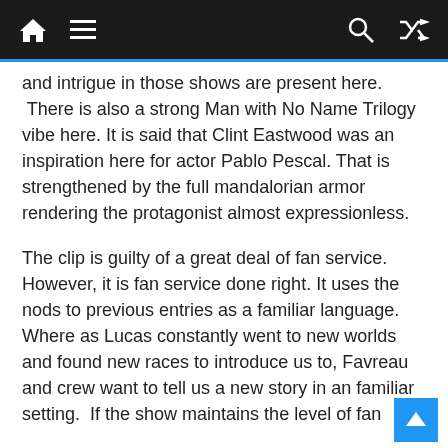Navigation bar with home, menu, search, and shuffle icons
and intrigue in those shows are present here. There is also a strong Man with No Name Trilogy vibe here. It is said that Clint Eastwood was an inspiration here for actor Pablo Pescal. That is strengthened by the full mandalorian armor rendering the protagonist almost expressionless.
The clip is guilty of a great deal of fan service. However, it is fan service done right. It uses the nods to previous entries as a familiar language. Where as Lucas constantly went to new worlds and found new races to introduce us to, Favreau and crew want to tell us a new story in an familiar setting. If the show maintains the level of fan